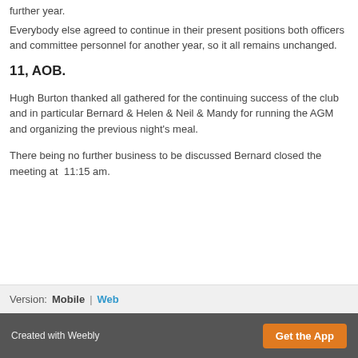further year.
Everybody else agreed to continue in their present positions both officers and committee personnel for another year, so it all remains unchanged.
11, AOB.
Hugh Burton thanked all gathered for the continuing success of the club and in particular Bernard & Helen & Neil & Mandy for running the AGM and organizing the previous night's meal.
There being no further business to be discussed Bernard closed the meeting at  11:15 am.
Version:  Mobile  |  Web
Created with Weebly  Get the App